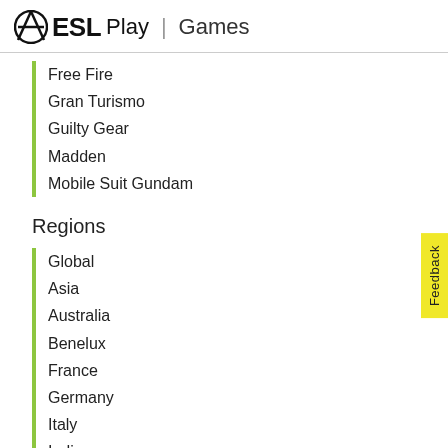ESL Play | Games
Free Fire
Gran Turismo
Guilty Gear
Madden
Mobile Suit Gundam
Regions
Global
Asia
Australia
Benelux
France
Germany
Italy
India
Japan